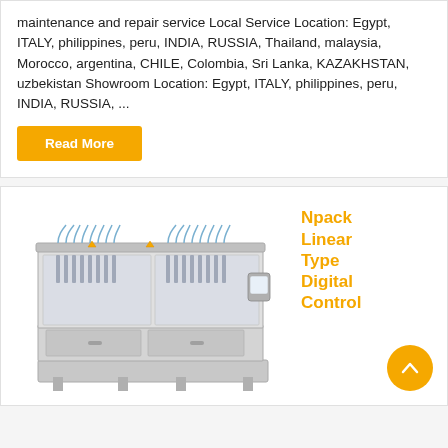maintenance and repair service Local Service Location: Egypt, ITALY, philippines, peru, INDIA, RUSSIA, Thailand, malaysia, Morocco, argentina, CHILE, Colombia, Sri Lanka, KAZAKHSTAN, uzbekistan Showroom Location: Egypt, ITALY, philippines, peru, INDIA, RUSSIA, ...
Read More
[Figure (photo): Npack Linear Type Digital Control filling machine — a large stainless steel industrial liquid filling machine with multiple filling nozzles and a digital control panel on the right side.]
Npack Linear Type Digital Control